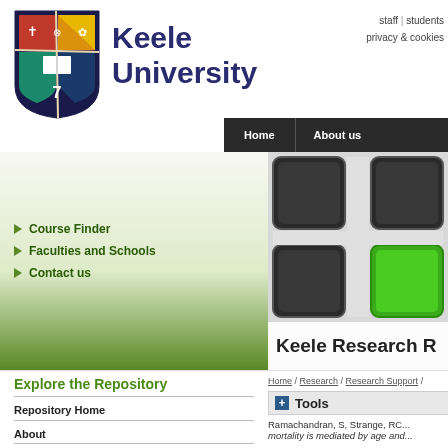[Figure (logo): Keele University shield/crest logo with colored quadrants and symbols, alongside the text Keele University]
Keele University
staff | students
privacy & cookies
Course Finder
Faculties and Schools
Contact us
[Figure (photo): Close-up photo of keyboard keys with one green key]
Keele Research R
Explore the Repository
Home / Research / Research Support /
+ Tools
Repository Home
About
Browse
Ramachandran, S, Strange, RC... mortality is mediated by age and...